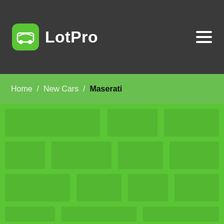LotPro
Home / New Cars / Maserati
[Figure (illustration): Green background with subtle tile/brick pattern overlay in lighter green tones]